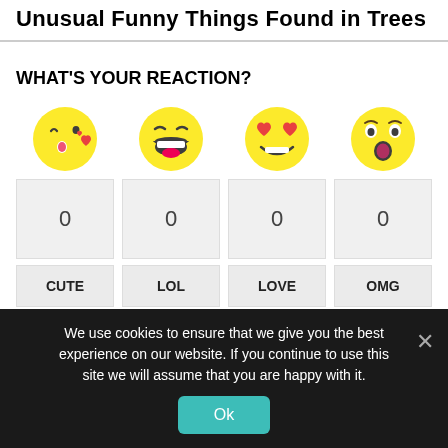Unusual Funny Things Found in Trees
WHAT'S YOUR REACTION?
[Figure (illustration): Four emoji reaction icons: kissing face with heart (CUTE), laughing face (LOL), heart eyes face (LOVE), surprised wide-eyed face (OMG)]
| CUTE | LOL | LOVE | OMG |
| --- | --- | --- | --- |
| 0 | 0 | 0 | 0 |
We use cookies to ensure that we give you the best experience on our website. If you continue to use this site we will assume that you are happy with it.